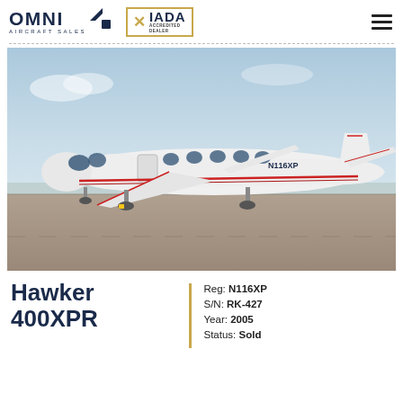OMNI AIRCRAFT SALES | IADA ACCREDITED DEALER
[Figure (photo): White Hawker 400XPR business jet (registration N116XP) parked on tarmac at an airport, with a light blue sky background. Red pinstripe on the fuselage. Yellow wheel chocks visible.]
Hawker 400XPR
Reg: N116XP
S/N: RK-427
Year: 2005
Status: Sold